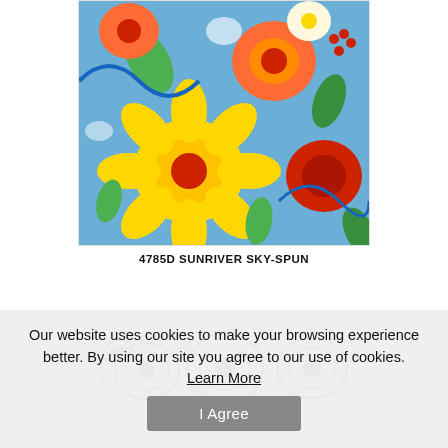[Figure (photo): Close-up photograph of colorful floral fabric pattern featuring orange, yellow, red flowers and green leaves on a blue/sky background - fabric swatch 4785D Sunriver Sky-Spun]
4785D SUNRIVER SKY-SPUN
[Figure (photo): Partial photograph of blue and white fabric with detailed paisley/floral pattern in navy blue on white background]
Our website uses cookies to make your browsing experience better. By using our site you agree to our use of cookies.
Learn More
I Agree